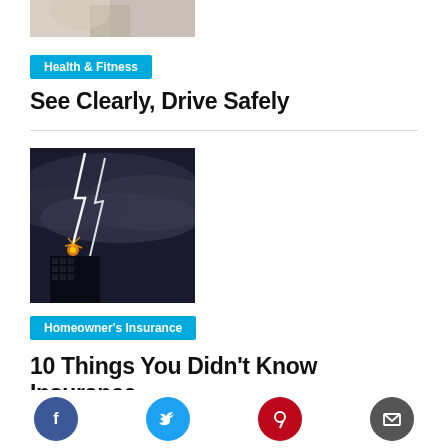[Figure (photo): Partial view of a person wearing a seatbelt in a car, cropped at top]
Health & Fitness
See Clearly, Drive Safely
[Figure (photo): Lightning striking a building at night with stormy sky]
Homeowner's Insurance
10 Things You Didn't Know Insurance
[Figure (infographic): Social share bar with Facebook, Twitter, Pinterest, and email icons]